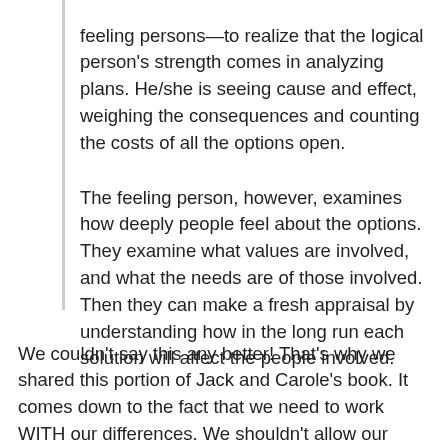feeling persons—to realize that the logical person's strength comes in analyzing plans. He/she is seeing cause and effect, weighing the consequences and counting the costs of all the options open.
The feeling person, however, examines how deeply people feel about the options. They examine what values are involved, and what the needs are of those involved. Then they can make a fresh appraisal by understanding how in the long run each solution will affect the people involved.
We couldn't say this any better! That's why we shared this portion of Jack and Carole's book. It comes down to the fact that we need to work WITH our differences. We shouldn't allow our differences to separate us. If we don't, they will overpower the good within our marriage relationship. God created us different for a